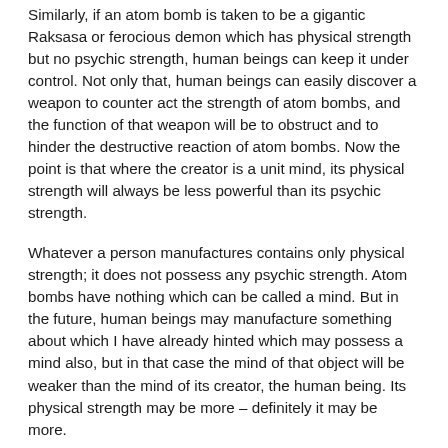Similarly, if an atom bomb is taken to be a gigantic Raksasa or ferocious demon which has physical strength but no psychic strength, human beings can keep it under control. Not only that, human beings can easily discover a weapon to counter act the strength of atom bombs, and the function of that weapon will be to obstruct and to hinder the destructive reaction of atom bombs. Now the point is that where the creator is a unit mind, its physical strength will always be less powerful than its psychic strength.
Whatever a person manufactures contains only physical strength; it does not possess any psychic strength. Atom bombs have nothing which can be called a mind. But in the future, human beings may manufacture something about which I have already hinted which may possess a mind also, but in that case the mind of that object will be weaker than the mind of its creator, the human being. Its physical strength may be more – definitely it may be more.